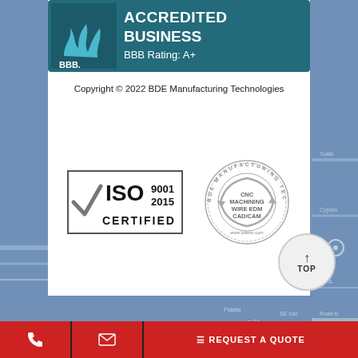[Figure (logo): BBB Accredited Business logo with BBB Rating: A+, teal background]
Copyright © 2022 BDE Manufacturing Technologies
[Figure (logo): ISO 9001 2015 Certified logo with checkmark]
[Figure (logo): BDE Manufacturing Technologies circular badge: CNC Machining, Wire EDM, CAD/CAM, www.bdeinc.com]
[Figure (other): TOP button - circular scroll to top button with upward arrow]
REQUEST A QUOTE (phone and email contact buttons)